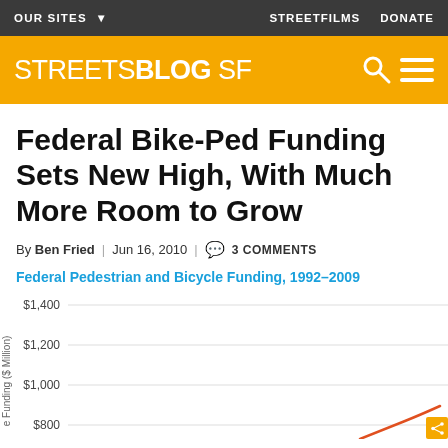OUR SITES  STREETFILMS  DONATE
[Figure (logo): STREETSBLOG SF logo on yellow/orange background with search and menu icons]
Federal Bike-Ped Funding Sets New High, With Much More Room to Grow
By Ben Fried | Jun 16, 2010 | 3 COMMENTS
Federal Pedestrian and Bicycle Funding, 1992–2009
[Figure (line-chart): Partial line chart showing y-axis from $800 to $1,400 with gridlines; curve visible at bottom right around $800 level. Chart is cropped.]